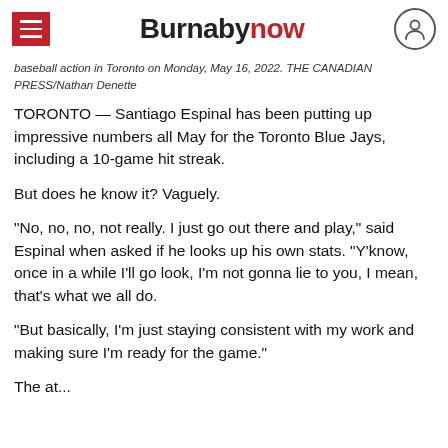Burnabynow
baseball action in Toronto on Monday, May 16, 2022. THE CANADIAN PRESS/Nathan Denette
TORONTO — Santiago Espinal has been putting up impressive numbers all May for the Toronto Blue Jays, including a 10-game hit streak.
But does he know it? Vaguely.
"No, no, no, not really. I just go out there and play," said Espinal when asked if he looks up his own stats. "Y'know, once in a while I'll go look, I'm not gonna lie to you, I mean, that's what we all do.
"But basically, I'm just staying consistent with my work and making sure I'm ready for the game."
The at...